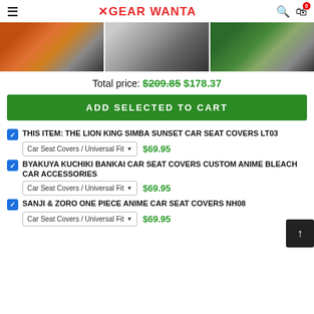GEAR WANTA — navigation header with logo, search and cart icons
[Figure (photo): Three car seat cover product photos shown in a horizontal strip: Lion King Simba Sunset, Byakuya Kuchiki Bankai, and Sanji & Zoro One Piece designs]
Total price: $209.85 $178.37
ADD SELECTED TO CART
THIS ITEM: THE LION KING SIMBA SUNSET CAR SEAT COVERS LT03  Car Seat Covers / Universal Fit  $69.95
BYAKUYA KUCHIKI BANKAI CAR SEAT COVERS CUSTOM ANIME BLEACH CAR ACCESSORIES  Car Seat Covers / Universal Fit  $69.95
SANJI & ZORO ONE PIECE ANIME CAR SEAT COVERS NH08  Car Seat Covers / Universal Fit  $69.95